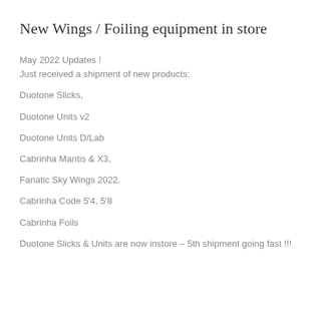New Wings / Foiling equipment in store
May 2022 Updates !
Just received a shipment of new products:
Duotone Slicks,
Duotone Units v2
Duotone Units D/Lab
Cabrinha Mantis & X3,
Fanatic Sky Wings 2022.
Cabrinha Code 5'4, 5'8
Cabrinha Foils
Duotone Slicks & Units are now instore – 5th shipment going fast !!!